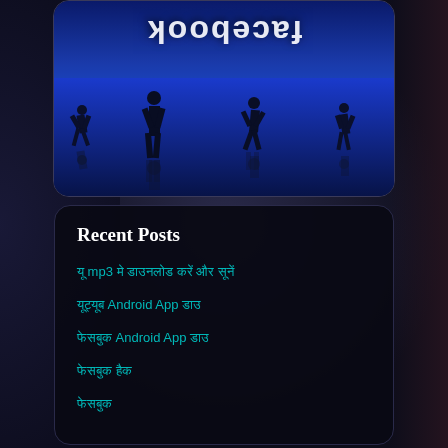[Figure (photo): Facebook logo reflected upside-down on a blue background with silhouettes of people running, displayed on a tablet screen]
Recent Posts
यू mp3 मे डाउनलोड करें और सूनें
यूट्यूब Android App डाउ
फेसबुक Android App डाउ
फेसबुक हैक
फेसबुक